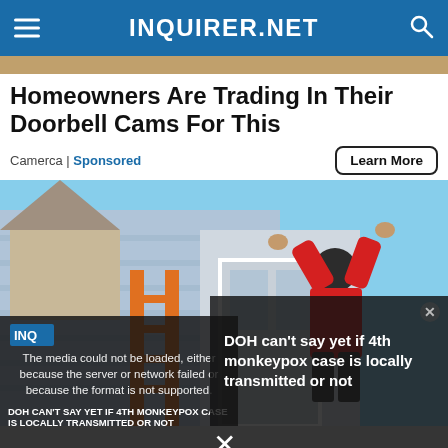INQUIRER.NET
[Figure (photo): Partial photo strip at top showing a background image]
Homeowners Are Trading In Their Doorbell Cams For This
Camerca | Sponsored
Learn More
[Figure (photo): A man in a red shirt on an orange ladder installing something on the side of a house]
The media could not be loaded, either because the server or network failed or because the format is not supported.
DOH can't say yet if 4th monkeypox case is locally transmitted or not
DOH CAN'T SAY YET IF 4TH MONKEYPOX CASE IS LOCALLY TRANSMITTED OR NOT